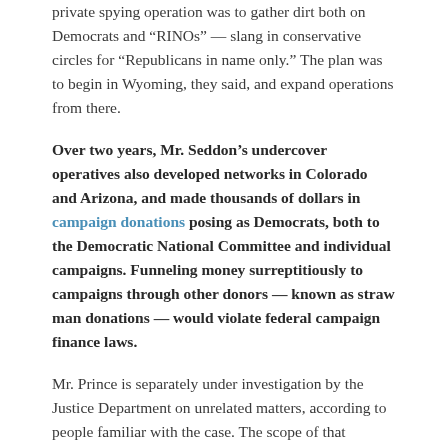private spying operation was to gather dirt both on Democrats and “RINOs” — slang in conservative circles for “Republicans in name only.” The plan was to begin in Wyoming, they said, and expand operations from there.
Over two years, Mr. Seddon’s undercover operatives also developed networks in Colorado and Arizona, and made thousands of dollars in campaign donations posing as Democrats, both to the Democratic National Committee and individual campaigns. Funneling money surreptitiously to campaigns through other donors — known as straw man donations — would violate federal campaign finance laws.
Mr. Prince is separately under investigation by the Justice Department on unrelated matters, according to people familiar with the case. The scope of that investigation is unclear.